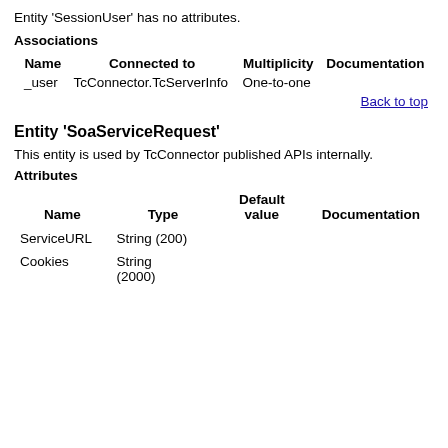Entity 'SessionUser' has no attributes.
Associations
| Name | Connected to | Multiplicity | Documentation |
| --- | --- | --- | --- |
| _user | TcConnector.TcServerInfo | One-to-one |  |
Back to top
Entity 'SoaServiceRequest'
This entity is used by TcConnector published APIs internally.
Attributes
| Name | Type | Default value | Documentation |
| --- | --- | --- | --- |
| ServiceURL | String (200) |  |  |
| Cookies | String (2000) |  |  |